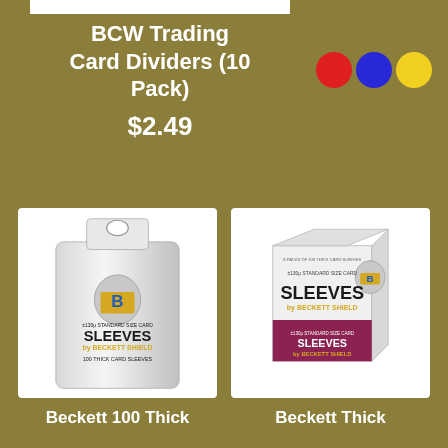BCW Trading Card Dividers (10 Pack)
$2.49
[Figure (illustration): Three colored circles: red, blue, yellow]
[Figure (photo): Beckett Shield 100 Thick Standard Size Card Sleeves bag product photo]
[Figure (photo): Beckett Thick Standard Size Card Sleeves box product photo]
Beckett 100 Thick
Beckett Thick